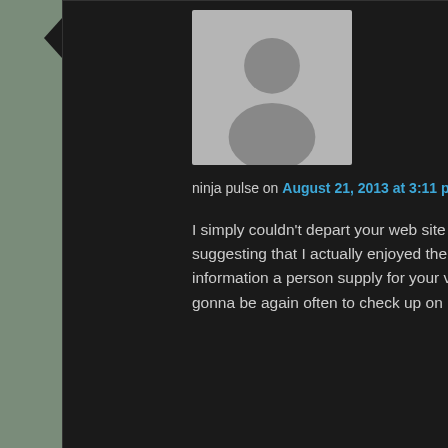[Figure (illustration): Default avatar placeholder image — grey silhouette of a person on grey background]
ninja pulse on August 21, 2013 at 3:11 pm said:
I simply couldn't depart your web site before suggesting that I actually enjoyed the standard information a person supply for your visitors? Is gonna be again often to check up on new posts
[Figure (illustration): Default avatar placeholder image — grey silhouette of a person on grey background]
ninja master prep professional on August 24, 2013 at 11:54 am said:
Somebody essentially help to make severely posts I'd state. That is the first time I frequented your website page and up to now? I amazed with the